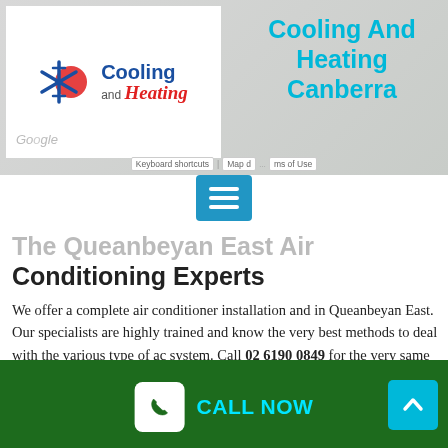[Figure (logo): Cooling and Heating logo with snowflake/sun icon, blue company name, red italic 'Heating']
Cooling And Heating Canberra
[Figure (screenshot): Google Maps partial background with keyboard shortcuts bar]
[Figure (other): Blue hamburger menu button with three white horizontal lines]
The Queanbeyan East Air Conditioning Experts
We offer a complete air conditioner installation and in Queanbeyan East. Our specialists are highly trained and know the very best methods to deal with the various type of ac system. Call 02 6190 0849 for the very same day cooling repairs, a/c setups and cooling services.
Ducted Evaporative Cooling
[Figure (other): Green footer bar with CALL NOW button and scroll-to-top arrow button]